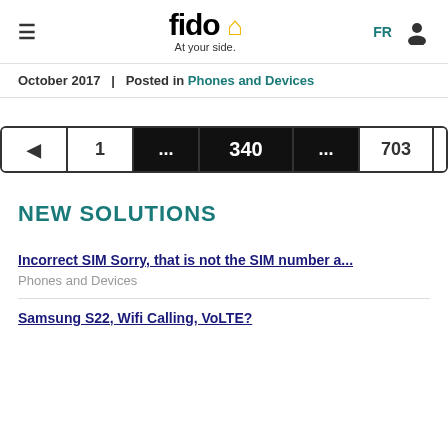fido At your side. FR [user icon]
October 2017  |  Posted in Phones and Devices
[Figure (other): Pagination control showing: left arrow, 1, ..., 340 (active/current), ..., 703, right arrow]
NEW SOLUTIONS
Incorrect SIM Sorry, that is not the SIM number a...
Phones and Devices
Samsung S22, Wifi Calling, VoLTE?